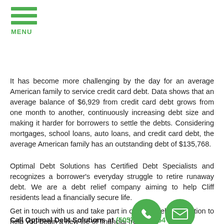MENU
It has become more challenging by the day for an average American family to service credit card debt. Data shows that an average balance of $6,929 from credit card debt grows from one month to another, continuously increasing debt size and making it harder for borrowers to settle the debts. Considering mortgages, school loans, auto loans, and credit card debt, the average American family has an outstanding debt of $135,768.
Optimal Debt Solutions has Certified Debt Specialists and recognizes a borrower's everyday struggle to retire runaway debt. We are a debt relief company aiming to help Cliff residents lead a financially secure life.
Get in touch with us and take part in our free debt evaluation to help you begin a new life of financial freedom.
Call Optimal Debt Solutions at (505) 257-7554 for...